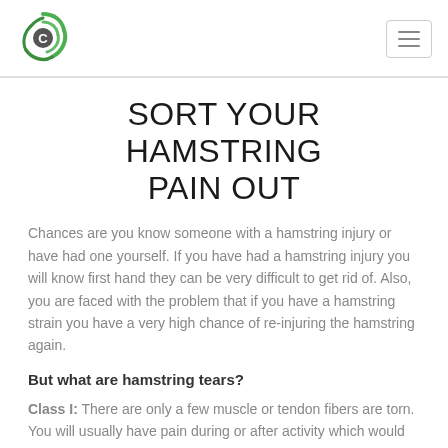[Logo] [Hamburger menu]
SORT YOUR HAMSTRING PAIN OUT
Chances are you know someone with a hamstring injury or have had one yourself. If you have had a hamstring injury you will know first hand they can be very difficult to get rid of. Also, you are faced with the problem that if you have a hamstring strain you have a very high chance of re-injuring the hamstring again.
But what are hamstring tears?
Class I: There are only a few muscle or tendon fibers are torn. You will usually have pain during or after activity which would be